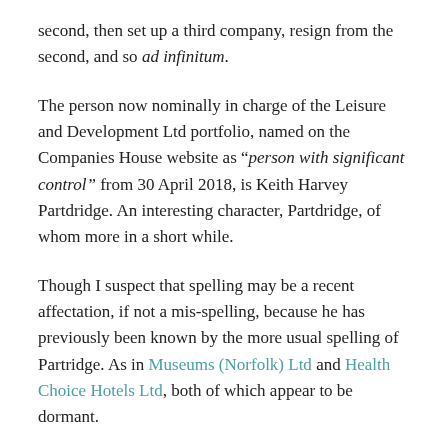second, then set up a third company, resign from the second, and so ad infinitum.
The person now nominally in charge of the Leisure and Development Ltd portfolio, named on the Companies House website as "person with significant control" from 30 April 2018, is Keith Harvey Partdridge. An interesting character, Partdridge, of whom more in a short while.
Though I suspect that spelling may be a recent affectation, if not a mis-spelling, because he has previously been known by the more usual spelling of Partridge. As in Museums (Norfolk) Ltd and Health Choice Hotels Ltd, both of which appear to be dormant.
Another example of Partridge’s business acumen, or perhaps his probity, may be found with Turnholly Ltd, owing some two hundred thousand pounds to various creditors.